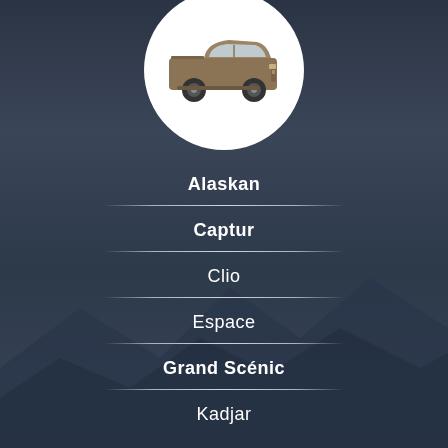[Figure (photo): Renault Alaskan pickup truck in bronze/brown color shown inside a white circular frame against dark background]
Alaskan
Captur
Clio
Espace
Grand Scénic
Kadjar